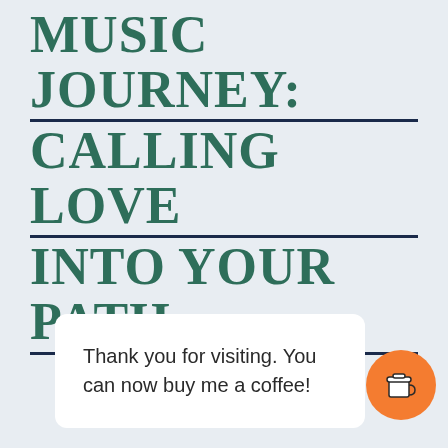MUSIC JOURNEY: CALLING LOVE INTO YOUR PATH
Thank you for visiting. You can now buy me a coffee!
[Figure (illustration): Orange circular button with a coffee cup icon]